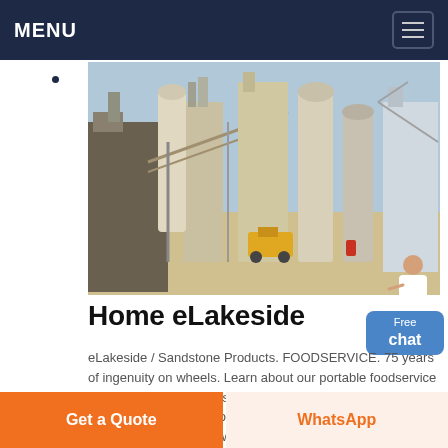MENU
[Figure (photo): Industrial/construction facility with conveyor belts, silos, scaffolding, and heavy machinery at a quarry or cement plant]
Home eLakeside
eLakeside / Sandstone Products. FOODSERVICE. 75 years of ingenuity on wheels. Learn about our portable foodservice equipment and solutions. VISIT. MEDICAL. Mobile transport and storage solutions for clinical medical applications. Learn how we can assist you with your mobile medical equipment
Chat Online